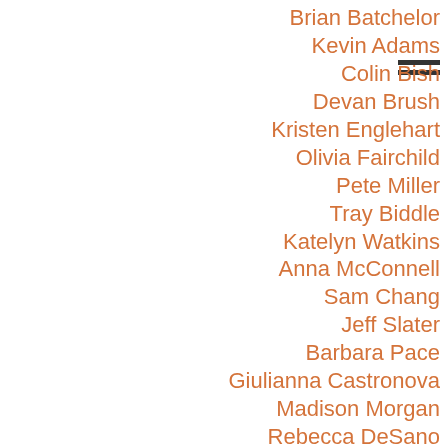Brian Batchelor
Kevin Adams
Colin Bish
Devan Brush
Kristen Englehart
Olivia Fairchild
Pete Miller
Tray Biddle
Katelyn Watkins
Anna McConnell
Sam Chang
Jeff Slater
Barbara Pace
Giulianna Castronova
Madison Morgan
Rebecca DeSano
Maureen …
Claire Zda…
Melaine…